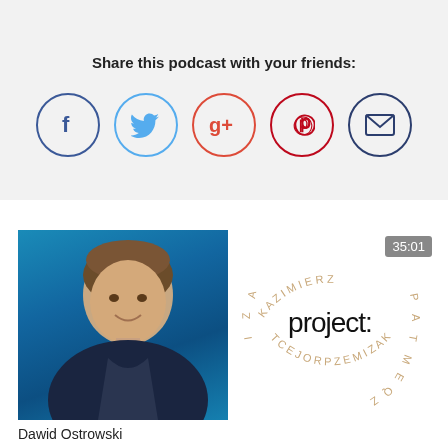Share this podcast with your friends:
[Figure (infographic): Row of five social media share icons in circles: Facebook (blue), Twitter (light blue), Google+ (red), Pinterest (red), Email (dark blue)]
[Figure (photo): Headshot of a young man smiling, wearing a dark jacket, against a blue background]
Dawid Ostrowski
[Figure (logo): Kazimierz Project podcast logo with text arranged in a circle and 'project:' in the center. Duration badge shows 35:01]